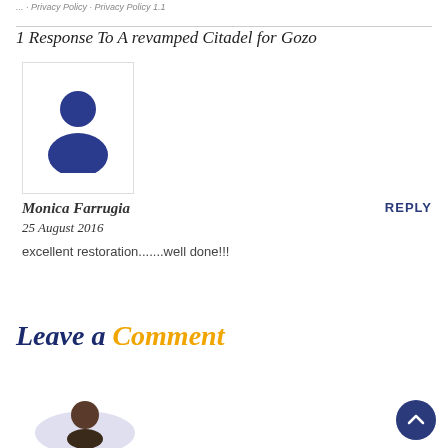... · Privacy Policy · Privacy Policy 1.1
1 Response To A revamped Citadel for Gozo
[Figure (illustration): Blue user avatar icon showing a person silhouette (head circle and shoulders) in dark blue, inside a white bordered box]
Monica Farrugia
REPLY
25 August 2016
excellent restoration.......well done!!!
Leave a Comment
[Figure (illustration): Partial illustration of a person at the bottom left of the page, showing head and shoulders with a light gray speech bubble shape]
[Figure (illustration): Dark blue circular scroll-to-top button with an upward arrow chevron icon, positioned at bottom right]